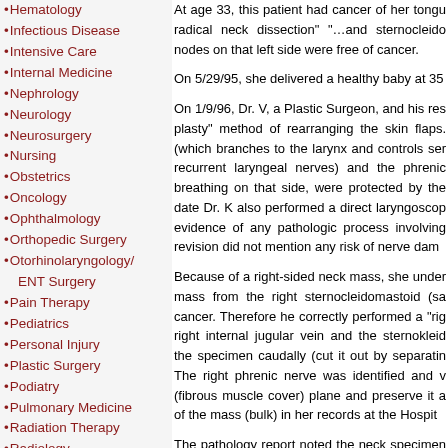Hematology
Infectious Disease
Intensive Care
Internal Medicine
Nephrology
Neurology
Neurosurgery
Nursing
Obstetrics
Oncology
Ophthalmology
Orthopedic Surgery
Otorhinolaryngology/ ENT Surgery
Pain Therapy
Pediatrics
Personal Injury
Plastic Surgery
Podiatry
Pulmonary Medicine
Radiation Therapy
Radiology
Thoracic Surgery
Urology
Vascular Surgery
At age 33, this patient had cancer of her tongue radical neck dissection" "…and sternocleidomastoid nodes on that left side were free of cancer.
On 5/29/95, she delivered a healthy baby at 35
On 1/9/96, Dr. V, a Plastic Surgeon, and his resident plasty" method of rearranging the skin flaps. (which branches to the larynx and controls ser recurrent laryngeal nerves) and the phrenic breathing on that side, were protected by the date Dr. K also performed a direct laryngoscopy evidence of any pathologic process involving revision did not mention any risk of nerve dam
Because of a right-sided neck mass, she underwent mass from the right sternocleidomastoid (sam cancer. Therefore he correctly performed a "rig right internal jugular vein and the sternocleid the specimen caudally (cut it out by separating The right phrenic nerve was identified and (fibrous muscle cover) plane and preserve it of the mass (bulk) in her records at the Hospit
The pathology report noted the neck specimen cm (one inch = 2.54 cm) dissection.